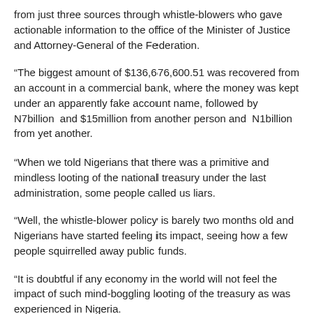from just three sources through whistle-blowers who gave actionable information to the office of the Minister of Justice and Attorney-General of the Federation.
“The biggest amount of $136,676,600.51 was recovered from an account in a commercial bank, where the money was kept under an apparently fake account name, followed by N7billion  and $15million from another person and  N1billion  from yet another.
"When we told Nigerians that there was a primitive and mindless looting of the national treasury under the last administration, some people called us liars.
“Well, the whistle-blower policy is barely two months old and Nigerians have started feeling its impact, seeing how a few people squirrelled away public funds.
“It is doubtful if any economy in the world will not feel the impact of such mind-boggling looting of the treasury as was experienced in Nigeria.
"Yet whatever has been recovered so far, including the $9.8million by the EFCC, is just a tip of the iceberg."